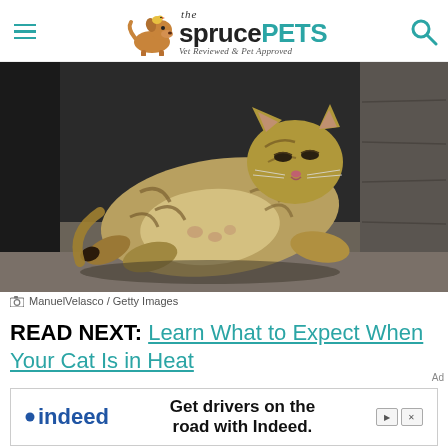the spruce PETS — Vet Reviewed & Pet Approved
[Figure (photo): A tabby cat lying on its side on a concrete surface, leaning against a stone wall, appearing relaxed or nursing]
ManuelVelasco / Getty Images
READ NEXT: Learn What to Expect When Your Cat Is in Heat
[Figure (screenshot): Indeed advertisement banner: 'Get drivers on the road with Indeed.']